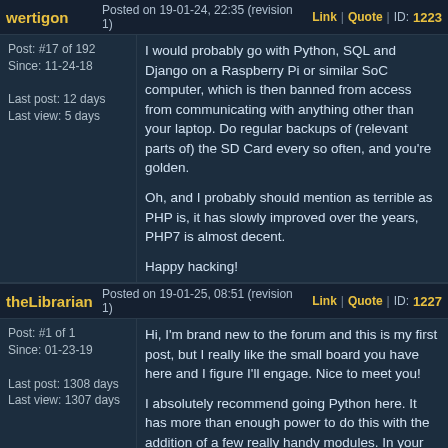wertigon | Posted on 19-01-24, 22:35 (revision 1) | Link | Quote | ID: 1223
Post: #17 of 192
Since: 11-24-18

Last post: 12 days
Last view: 5 days
I would probably go with Python, SQL and Django on a Raspberry Pi or similar SoC computer, which is then banned from access from communicating with anything other than your laptop. Do regular backups of (relevant parts of) the SD Card every so often, and you're golden.

Oh, and I probably should mention as terrible as PHP is, it has slowly improved over the years, PHP7 is almost decent.

Happy hacking!
theLibrarian | Posted on 19-01-25, 08:51 (revision 1) | Link | Quote | ID: 1227
Post: #1 of 1
Since: 01-23-19

Last post: 1308 days
Last view: 1307 days
Hi, I'm brand new to the forum and this is my first post, but I really like the small board you have here and I figure I'll engage. Nice to meet you!

I absolutely recommend going Python here. It has more than enough power to do this with the addition of a few really handy modules. In your case, PIL or Pillow is a must, BS4, and well, there's probably a lot I'd recommend, so I'll stop there. But, then your py-networker of choice and you'll finally have something. (Django or Jupyter or any of them, really.) This is the drawback of using modular languages like python or node but also the benefit, I suppose. Also, like wertigon suggested with the Pi, well then python should definitely be your number 1. The two go hand in hand in every way. (I just ordered two more, a zero and a zero w last night. The 1pp limit is probably for the best, because I've got the fever again...)